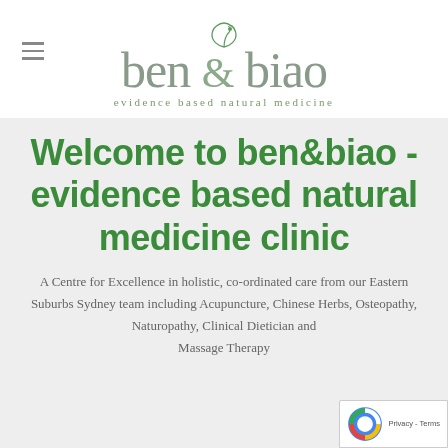[Figure (logo): ben & biao logo with leaf icon above, subtitle 'evidence based natural medicine']
Welcome to ben&biao - evidence based natural medicine clinic
A Centre for Excellence in holistic, co-ordinated care from our Eastern Suburbs Sydney team including Acupuncture, Chinese Herbs, Osteopathy, Naturopathy, Clinical Dietician and Massage Therapy